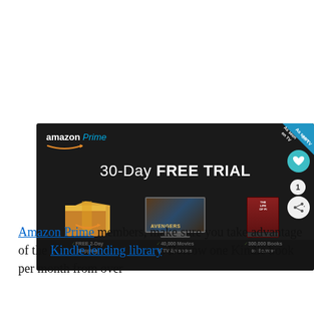[Figure (screenshot): Amazon Prime 30-Day FREE TRIAL advertisement banner showing free 2-day shipping, 40,000 movies & TV episodes, and 300,000 books to borrow. Has 'As seen on TV' badge in upper right corner.]
Amazon Prime members, make sure you take advantage of the Kindle lending library. Borrow one Kindle book per month from over